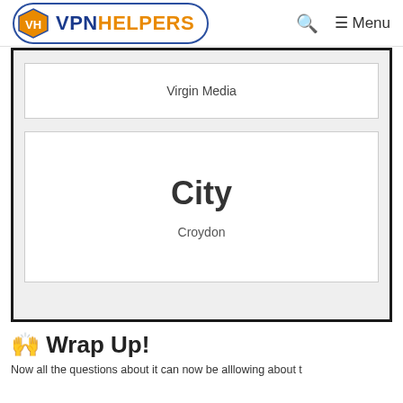VPN HELPERS — Q (Search) ≡ Menu
| Field | Value |
| --- | --- |
|  | Virgin Media |
| City | Croydon |
🙌 Wrap Up!
Now all the questions about it...